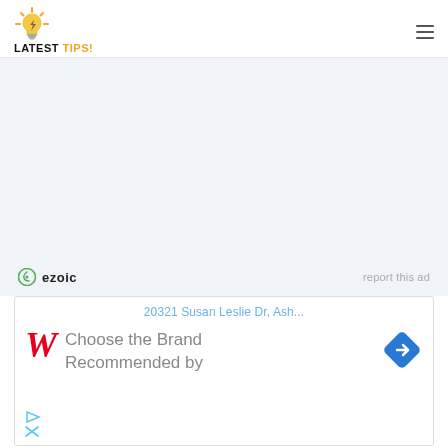LATEST TIPS!
[Figure (other): Ezoic advertisement placeholder area with light blue-grey background, showing ezoic logo and 'report this ad' text]
[Figure (other): Walgreens advertisement banner showing address '20321 Susan Leslie Dr, Ash...', Walgreens W logo, navigation diamond icon, social media icons, and text 'Choose the Brand Recommended by']